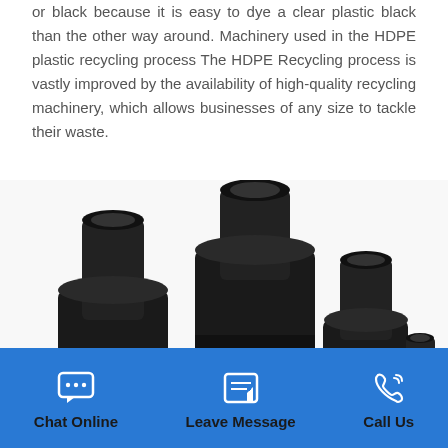or black because it is easy to dye a clear plastic black than the other way around. Machinery used in the HDPE plastic recycling process The HDPE Recycling process is vastly improved by the availability of high-quality recycling machinery, which allows businesses of any size to tackle their waste.
[Figure (photo): Four black HDPE pipe fittings/reducers of decreasing sizes arranged side by side on a white background.]
Chat Online   Leave Message   Call Us